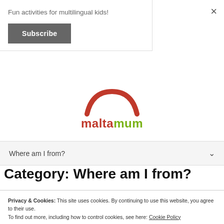Fun activities for multilingual kids!
Subscribe
[Figure (logo): Maltamum logo with red arc/bowl shape above green and red 'maltamum' text]
Where am I from?
Category: Where am I from?
Privacy & Cookies: This site uses cookies. By continuing to use this website, you agree to their use. To find out more, including how to control cookies, see here: Cookie Policy
Close and accept
Follow
Hello lovely people :). I hope this email